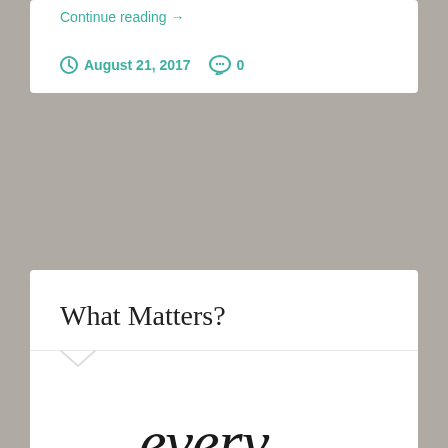Continue reading →
August 21, 2017   0
What Matters?
[Figure (illustration): Handwritten brush lettering reading 'every moment' in black script on white background]